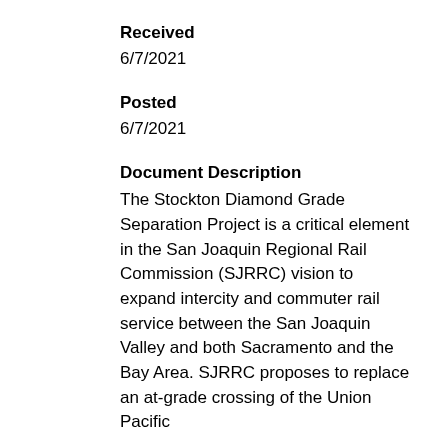Received
6/7/2021
Posted
6/7/2021
Document Description
The Stockton Diamond Grade Separation Project is a critical element in the San Joaquin Regional Rail Commission (SJRRC) vision to expand intercity and commuter rail service between the San Joaquin Valley and both Sacramento and the Bay Area. SJRRC proposes to replace an at-grade crossing of the Union Pacific